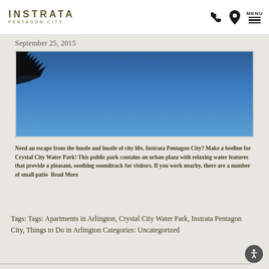INSTRATA PENTAGON CITY
September 25, 2015
[Figure (photo): Outdoor photo showing a blue sky with dark tree branches visible in the upper-left corner]
Need an escape from the hustle and bustle of city life, Instrata Pentagon City? Make a beeline for Crystal City Water Park! This public park contains an urban plaza with relaxing water features that provide a pleasant, soothing soundtrack for visitors. If you work nearby, there are a number of small patio  Read More
Tags: Tags: Apartments in Arlington, Crystal City Water Park, Instrata Pentagon City, Things to Do in Arlington Categories: Uncategorized